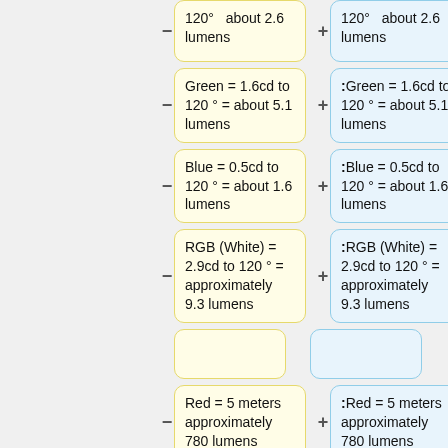120° = about 2.6 lumens (yellow box, left column, row 1)
:120° = about 2.6 lumens (blue box, right column, row 1)
Green = 1.6cd to 120 ° = about 5.1 lumens
:Green = 1.6cd to 120 ° = about 5.1 lumens
Blue = 0.5cd to 120 ° = about 1.6 lumens
:Blue = 0.5cd to 120 ° = about 1.6 lumens
RGB (White) = 2.9cd to 120 ° = approximately 9.3 lumens
:RGB (White) = 2.9cd to 120 ° = approximately 9.3 lumens
Red = 5 meters approximately 780 lumens
:Red = 5 meters approximately 780 lumens
Green = 5 meters approximately
:Green = 5 meters approximately